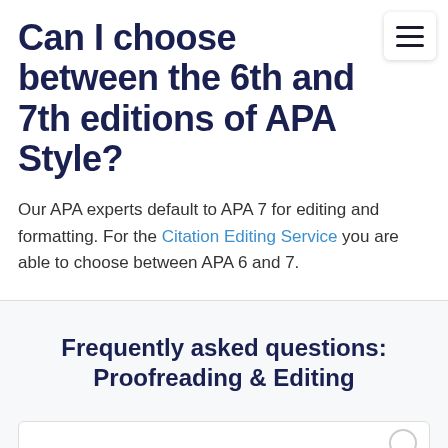Can I choose between the 6th and 7th editions of APA Style?
Our APA experts default to APA 7 for editing and formatting. For the Citation Editing Service you are able to choose between APA 6 and 7.
Frequently asked questions: Proofreading & Editing